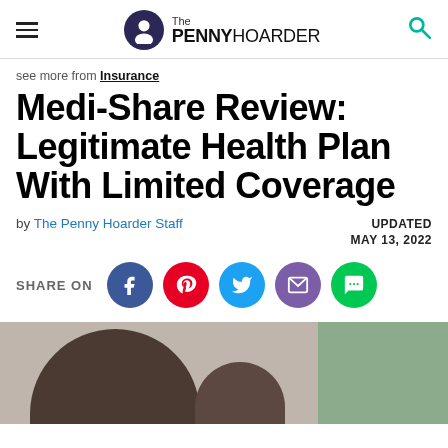The PENNY HOARDER
see more from Insurance
Medi-Share Review: Legitimate Health Plan With Limited Coverage
by The Penny Hoarder Staff   UPDATED MAY 13, 2022
SHARE ON [Facebook] [Pinterest] [Twitter] [Email] [SMS]
[Figure (photo): Photo of a woman and child, background shows a light green wall]